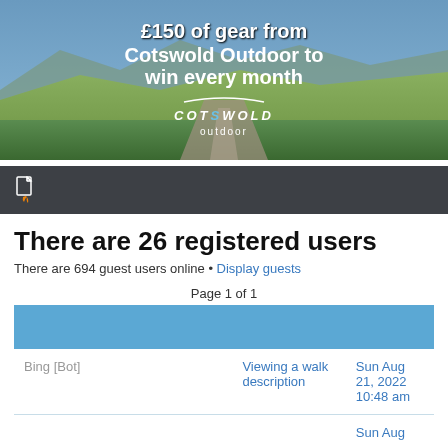[Figure (photo): Advertisement banner for Cotswold Outdoor showing a mountain landscape with a winding road. Text reads '£150 of gear from Cotswold Outdoor to win every month' with the Cotswold Outdoor logo.]
[Figure (screenshot): Dark toolbar bar with a white document/fire icon on the left.]
There are 26 registered users
There are 694 guest users online • Display guests
Page 1 of 1
|  |  |  |
| --- | --- | --- |
| Bing [Bot] | Viewing a walk description | Sun Aug 21, 2022 10:48 am |
|  |  | Sun Aug |